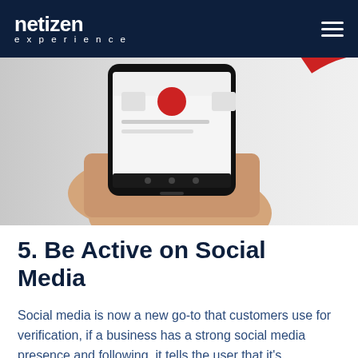netizen experience
[Figure (photo): A hand holding a smartphone displaying a social media or contacts app interface, with a red circular graphic element on the right side against a light grey background.]
5. Be Active on Social Media
Social media is now a new go-to that customers use for verification, if a business has a strong social media presence and following, it tells the user that it's trustworthy. It's a different form of testimonials as there's a community that can be seen and users trust